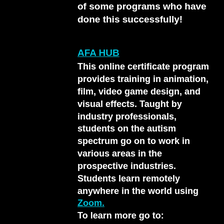of some programs who have done this successfully!
AFA HUB
This online certificate program provides training in animation, film, video game design, and visual effects. Taught by industry professionals, students on the autism spectrum go on to work in various areas in the prospective industries.  Students learn remotely anywhere in the world using Zoom. To learn more go to: www.afahub.com
Social Skills Theater
This program was previously in person and provides teens and